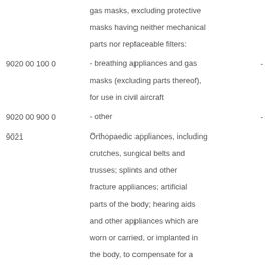gas masks, excluding protective masks having neither mechanical parts nor replaceable filters:
9020 00 100 0 - breathing appliances and gas masks (excluding parts thereof), for use in civil aircraft -
9020 00 900 0 - other -
9021 Orthopaedic appliances, including crutches, surgical belts and trusses; splints and other fracture appliances; artificial parts of the body; hearing aids and other appliances which are worn or carried, or implanted in the body, to compensate for a